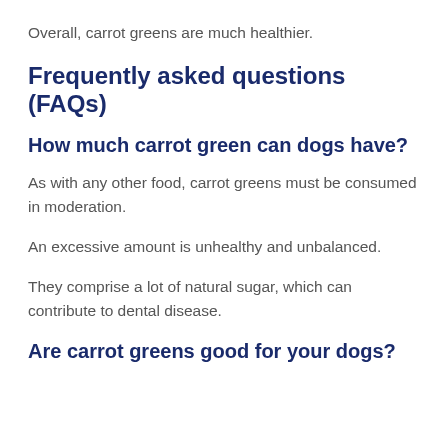Overall, carrot greens are much healthier.
Frequently asked questions (FAQs)
How much carrot green can dogs have?
As with any other food, carrot greens must be consumed in moderation.
An excessive amount is unhealthy and unbalanced.
They comprise a lot of natural sugar, which can contribute to dental disease.
Are carrot greens good for your dogs?